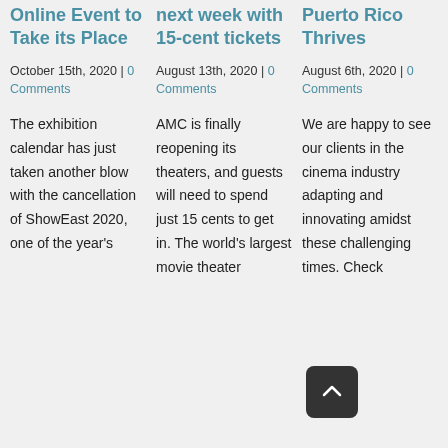Online Event to Take its Place
October 15th, 2020 | 0 Comments
The exhibition calendar has just taken another blow with the cancellation of ShowEast 2020, one of the year's
next week with 15-cent tickets
August 13th, 2020 | 0 Comments
AMC is finally reopening its theaters, and guests will need to spend just 15 cents to get in. The world's largest movie theater
Puerto Rico Thrives
August 6th, 2020 | 0 Comments
We are happy to see our clients in the cinema industry adapting and innovating amidst these challenging times. Check